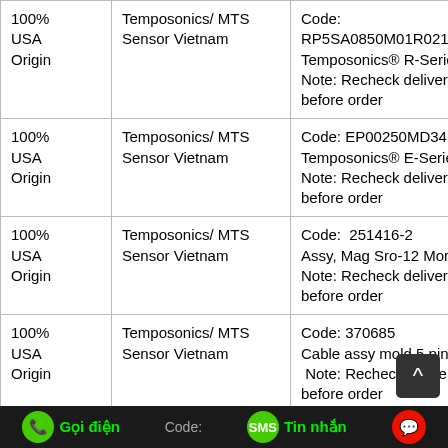| Origin | Supplier | Product Info |
| --- | --- | --- |
| 100% USA Origin | Temposonics/ MTS Sensor Vietnam | Code: RP5SA0850M01R021A100
Temposonics® R-Series
Note: Recheck delivery time before order |
| 100% USA Origin | Temposonics/ MTS Sensor Vietnam | Code: EP00250MD341V03
Temposonics® E-Series
Note: Recheck delivery time before order |
| 100% USA Origin | Temposonics/ MTS Sensor Vietnam | Code: 251416-2
Assy, Mag Sro-12 Monolithic
Note: Recheck delivery time before order |
| 100% USA Origin | Temposonics/ MTS Sensor Vietnam | Code: 370685
Cable assy mold 5 pin
Note: Recheck delivery time before order |
| 100% | Temposonics/ MTS | Code: ... |
Gọi điện   Code:   Tin nhắn